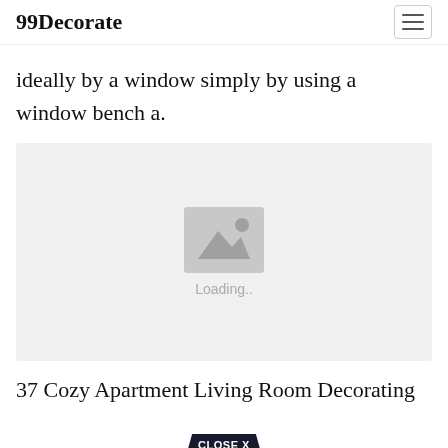99Decorate
ideally by a window simply by using a window bench a.
[Figure (photo): Image placeholder with loading state showing a grey background with a mountain/image icon and 'Loading..' text]
37 Cozy Apartment Living Room Decorating